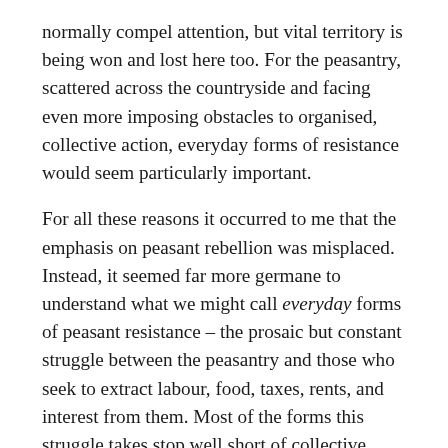normally compel attention, but vital territory is being won and lost here too. For the peasantry, scattered across the countryside and facing even more imposing obstacles to organised, collective action, everyday forms of resistance would seem particularly important.
For all these reasons it occurred to me that the emphasis on peasant rebellion was misplaced. Instead, it seemed far more germane to understand what we might call everyday forms of peasant resistance – the prosaic but constant struggle between the peasantry and those who seek to extract labour, food, taxes, rents, and interest from them. Most of the forms this struggle takes stop well short of collective outright defiance. Here I have in mind the ordinary weapons of relatively powerless groups: footdragging, dissimulation, false-compliance, pilfering, feigned ignorance, slander,